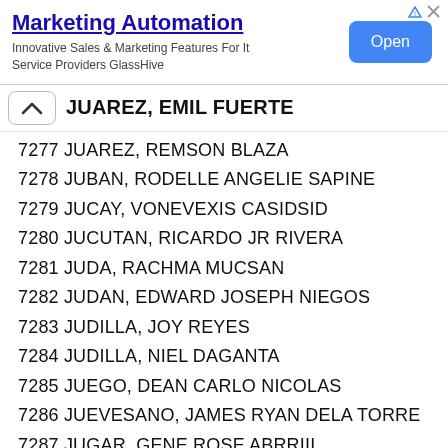[Figure (other): Advertisement banner for Marketing Automation by GlassHive with Open button]
JUAREZ, EMIL FUERTE
7277 JUAREZ, REMSON BLAZA
7278 JUBAN, RODELLE ANGELIE SAPINE
7279 JUCAY, VONEVEXIS CASIDSID
7280 JUCUTAN, RICARDO JR RIVERA
7281 JUDA, RACHMA MUCSAN
7282 JUDAN, EDWARD JOSEPH NIEGOS
7283 JUDILLA, JOY REYES
7284 JUDILLA, NIEL DAGANTA
7285 JUEGO, DEAN CARLO NICOLAS
7286 JUEVESANO, JAMES RYAN DELA TORRE
7287 JUGAR, GENE ROSE ABRRIII...